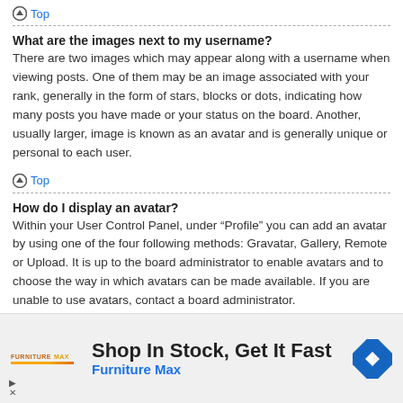Top
What are the images next to my username?
There are two images which may appear along with a username when viewing posts. One of them may be an image associated with your rank, generally in the form of stars, blocks or dots, indicating how many posts you have made or your status on the board. Another, usually larger, image is known as an avatar and is generally unique or personal to each user.
Top
How do I display an avatar?
Within your User Control Panel, under “Profile” you can add an avatar by using one of the four following methods: Gravatar, Gallery, Remote or Upload. It is up to the board administrator to enable avatars and to choose the way in which avatars can be made available. If you are unable to use avatars, contact a board administrator.
[Figure (infographic): Advertisement banner for Furniture Max with text 'Shop In Stock, Get It Fast', Furniture Max in blue, logo and navigation icon]